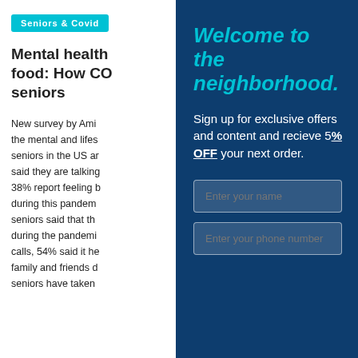Seniors & Covid
Mental health food: How CO seniors
New survey by Ami the mental and lifes seniors in the US ar said they are talking 38% report feeling b during this pandem seniors said that th during the pandemi calls, 54% said it he family and friends d seniors have taken
Welcome to the neighborhood.
Sign up for exclusive offers and content and recieve 5% OFF your next order.
Enter your name
Enter your phone number